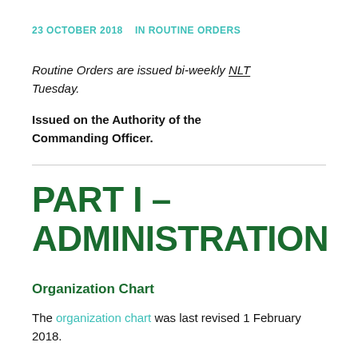23 OCTOBER 2018    IN ROUTINE ORDERS
Routine Orders are issued bi-weekly NLT Tuesday.
Issued on the Authority of the Commanding Officer.
PART I – ADMINISTRATION
Organization Chart
The organization chart was last revised 1 February 2018.